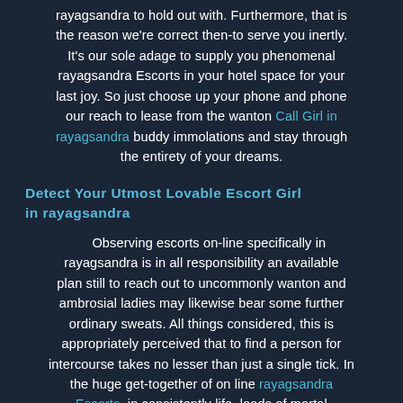rayagsandra to hold out with. Furthermore, that is the reason we're correct then-to serve you inertly. It's our sole adage to supply you phenomenal rayagsandra Escorts in your hotel space for your last joy. So just choose up your phone and phone our reach to lease from the wanton Call Girl in rayagsandra buddy immolations and stay through the entirety of your dreams.
Detect Your Utmost Lovable Escort Girl in rayagsandra
Observing escorts on-line specifically in rayagsandra is in all responsibility an available plan still to reach out to uncommonly wanton and ambrosial ladies may likewise bear some further ordinary sweats. All things considered, this is appropriately perceived that to find a person for intercourse takes no lesser than just a single tick. In the huge get-together of on line rayagsandra Escorts, in consistently life, loads of mortal